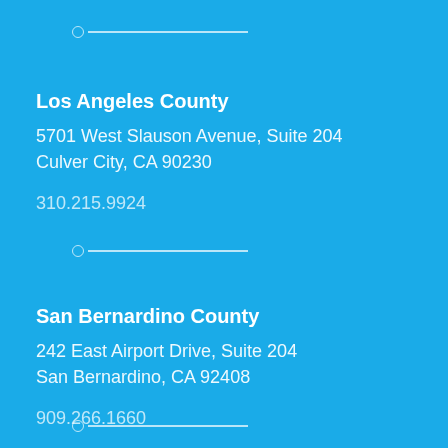Los Angeles County
5701 West Slauson Avenue, Suite 204
Culver City, CA 90230
310.215.9924
San Bernardino County
242 East Airport Drive, Suite 204
San Bernardino, CA 92408
909.266.1660